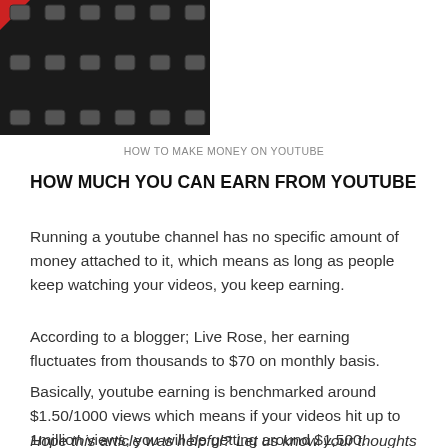[Figure (photo): Film strip reel with red and black colors, partially cropped at the top-left corner of the page]
HOW TO MAKE MONEY ON YOUTUBE
HOW MUCH YOU CAN EARN FROM YOUTUBE
Running a youtube channel has no specific amount of money attached to it, which means as long as people keep watching your videos, you keep earning.
According to a blogger; Live Rose, her earning fluctuates from thousands to $70 on monthly basis.
Basically, youtube earning is benchmarked around $1.50/1000 views which means if your videos hit up to 1million views, you will be getting around $1,500.
Hope this article was helpful? Let us know your thoughts